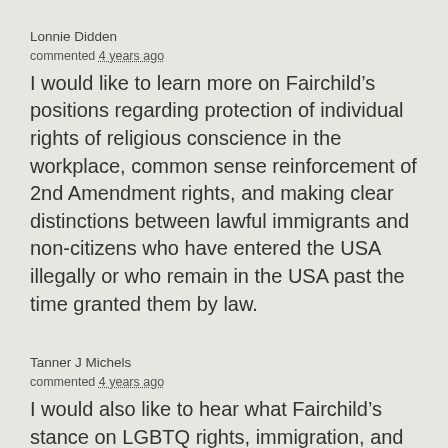Lonnie Didden
commented 4 years ago
I would like to learn more on Fairchild’s positions regarding protection of individual rights of religious conscience in the workplace, common sense reinforcement of 2nd Amendment rights, and making clear distinctions between lawful immigrants and non-citizens who have entered the USA illegally or who remain in the USA past the time granted them by law.
Tanner J Michels
commented 4 years ago
I would also like to hear what Fairchild’s stance on LGBTQ rights, immigration, and gun control in Dayton.